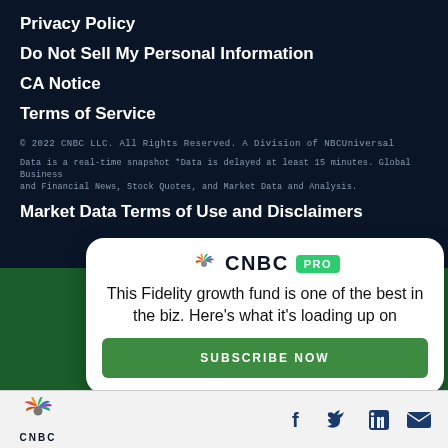Privacy Policy
Do Not Sell My Personal Information
CA Notice
Terms of Service
© 2022 CNBC LLC. All Rights Reserved. A Division of NBCUniversal
Data is a real-time snapshot *Data is delayed at least 15 minutes. Global Business and Financial News, Stock Quotes, and Market Data and Analysis.
Market Data Terms of Use and Disclaimers
[Figure (logo): CNBC PRO promotional modal card with peacock logo, headline 'This Fidelity growth fund is one of the best in the biz. Here's what it's loading up on', and a green SUBSCRIBE NOW button]
[Figure (logo): CNBC peacock logo with CNBC text in bottom navigation bar, with Facebook, Twitter, LinkedIn, and email social media icons]